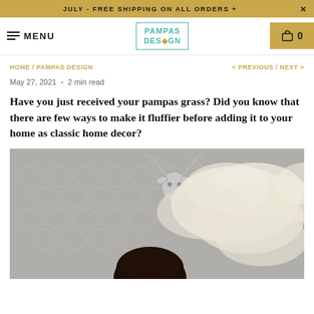JULY - FREE SHIPPING ON ALL ORDERS +
MENU | PAMPAS DESIGN | 0
HOME / PAMPAS DESIGN    < PREVIOUS / NEXT >
May 27, 2021  •  2 min read
Have you just received your pampas grass? Did you know that there are few ways to make it fluffier before adding it to your home as classic home decor?
[Figure (photo): A person holding large fluffy white pampas grass in front of a grey diamond lattice patterned background with a silver deer head wall decoration above]